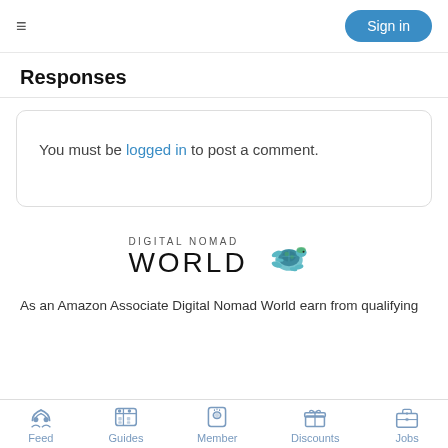Sign in
Responses
You must be logged in to post a comment.
[Figure (logo): Digital Nomad World logo with turtle illustration]
As an Amazon Associate Digital Nomad World earn from qualifying
Feed | Guides | Member | Discounts | Jobs